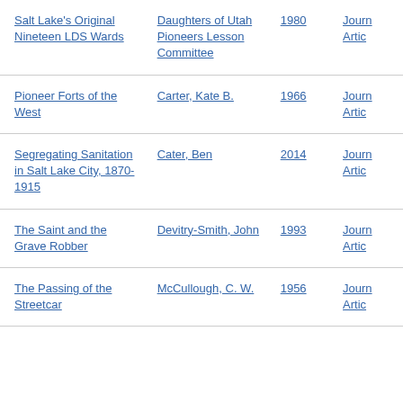| Title | Author | Year | Type |
| --- | --- | --- | --- |
| Salt Lake's Original Nineteen LDS Wards | Daughters of Utah Pioneers Lesson Committee | 1980 | Journal Article |
| Pioneer Forts of the West | Carter, Kate B. | 1966 | Journal Article |
| Segregating Sanitation in Salt Lake City, 1870-1915 | Cater, Ben | 2014 | Journal Article |
| The Saint and the Grave Robber | Devitry-Smith, John | 1993 | Journal Article |
| The Passing of the Streetcar | McCullough, C. W. | 1956 | Journal Article |